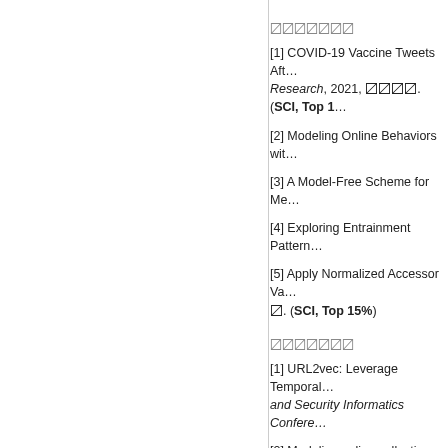〼〼〼〼〼〼〼
[1] COVID-19 Vaccine Tweets Aft… Research, 2021, 〼〼〼〼. (SCI, Top 1…
[2] Modeling Online Behaviors wit…
[3] A Model-Free Scheme for Me…
[4] Exploring Entrainment Pattern…
[5] Apply Normalized Accessor Va… 〼. (SCI, Top 15%)
〼〼〼〼〼〼〼
[1] URL2vec: Leverage Temporal… and Security Informatics Confere…
[2] Modeling online collective emo… Conference (ISI 2017), 〼〼〼〼.
[3] Meme Extraction and Tracing … 2016, 〼〼〼〼. (Best Paper Award)